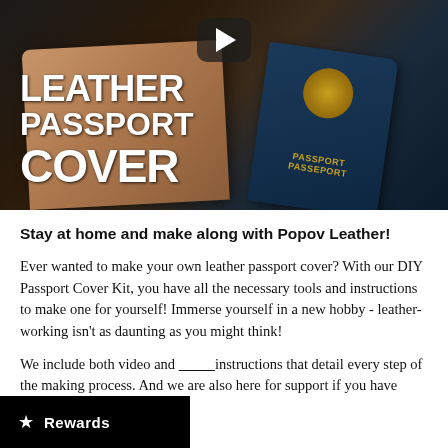[Figure (photo): Hero image showing a leather passport cover and a Canadian passport on a dark background, with the text 'LEATHER PASSPORT COVER' overlaid in white bold font, and a video play button at the top center.]
Stay at home and make along with Popov Leather!
Ever wanted to make your own leather passport cover? With our DIY Passport Cover Kit, you have all the necessary tools and instructions to make one for yourself! Immerse yourself in a new hobby - leather-working isn't as daunting as you might think!
We include both video and instructions that detail every step of the making process. And we are also here for support if you have questions.